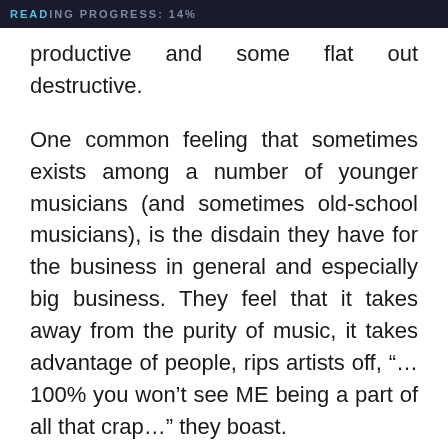READING PROGRESS: 14%
productive and some flat out destructive.
One common feeling that sometimes exists among a number of younger musicians (and sometimes old-school musicians), is the disdain they have for the business in general and especially big business. They feel that it takes away from the purity of music, it takes advantage of people, rips artists off, “…100% you won’t see ME being a part of all that crap…” they boast.